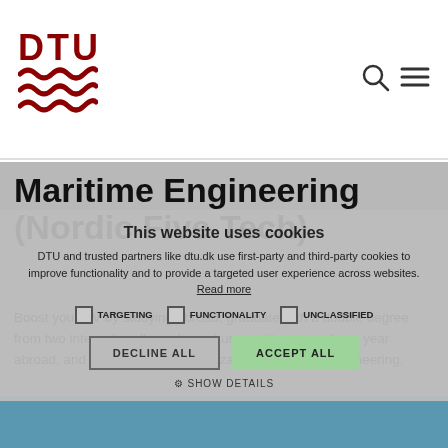[Figure (logo): DTU (Danmarks Tekniske Universitet) logo with red text DTU and three wavy red lines below]
[Figure (other): Search and hamburger menu icons in top right corner]
Maritime Engineering (Nordic Five Tech)
Boost your CV by studying abroad; graduate with a double degree from two internationally acclaimed universities; spend one year abroad, and gain a unique specialization in maritime engineering.
This website uses cookies
DTU and trusted partners like dtu.dk use first-party and third-party cookies to improve functionality and to provide a targeted user experience across websites.
TARGETING  FUNCTIONALITY  UNCLASSIFIED
DECLINE ALL  ACCEPT ALL
SHOW DETAILS